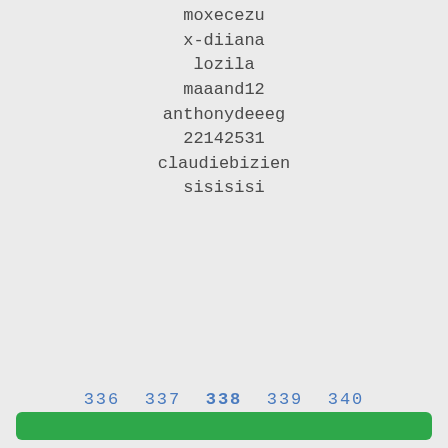moxecezu
x-diiana
lozila
maaand12
anthonydeeeg
22142531
claudiebizien
sisisisi
336 337 338 339 340